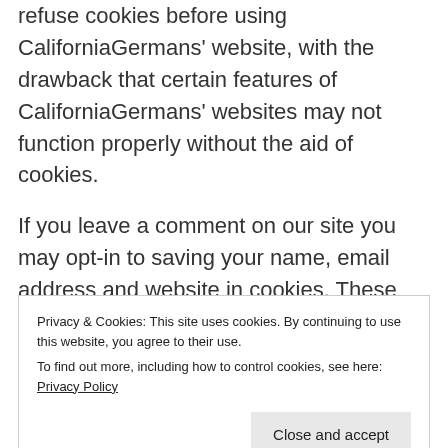refuse cookies before using CaliforniaGermans' website, with the drawback that certain features of CaliforniaGermans' websites may not function properly without the aid of cookies.
If you leave a comment on our site you may opt-in to saving your name, email address and website in cookies. These are for your convenience so that you do not have to fill in your details again when you leave another comment. These cookies will last for one year.
Privacy & Cookies: This site uses cookies. By continuing to use this website, you agree to their use.
To find out more, including how to control cookies, see here: Privacy Policy
discarded when you close your browser